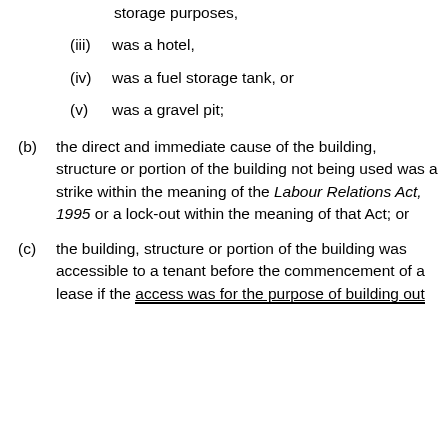storage purposes,
(iii) was a hotel,
(iv) was a fuel storage tank, or
(v) was a gravel pit;
(b) the direct and immediate cause of the building, structure or portion of the building not being used was a strike within the meaning of the Labour Relations Act, 1995 or a lock-out within the meaning of that Act; or
(c) the building, structure or portion of the building was accessible to a tenant before the commencement of a lease if the access was for the purpose of building out